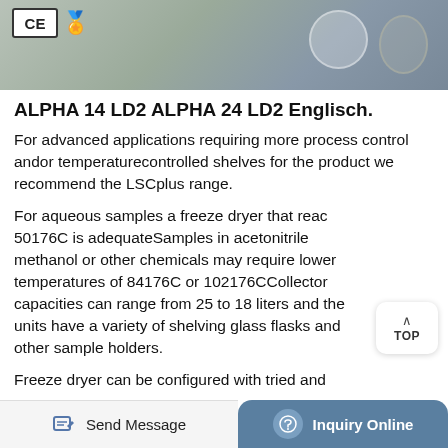[Figure (photo): Photo of laboratory freeze dryer equipment on a stainless steel surface, with CE certification badge and gold supplier icon overlay in top-left corner]
ALPHA 14 LD2 ALPHA 24 LD2 Englisch.
For advanced applications requiring more process control andor temperaturecontrolled shelves for the product we recommend the LSCplus range.
For aqueous samples a freeze dryer that reac 50176C is adequateSamples in acetonitrile methanol or other chemicals may require lower temperatures of 84176C or 102176CCollector capacities can range from 25 to 18 liters and the units have a variety of shelving glass flasks and other sample holders.
Freeze dryer can be configured with tried and
Send Message  |  Inquiry Online